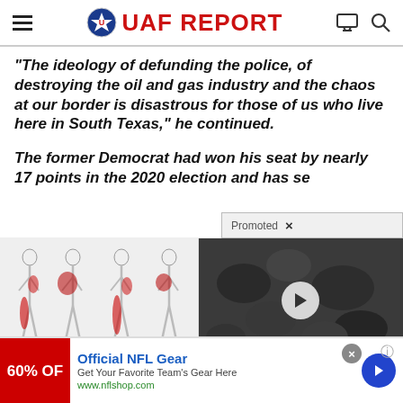UAF REPORT
“The ideology of defunding the police, of destroying the oil and gas industry and the chaos at our border is disastrous for those of us who live here in South Texas,” he continued.
The former Democrat had won his seat by nearly 17 points in the 2020 election and has se
[Figure (illustration): Medical illustration showing human body figures with red highlighted pain areas on hips and legs]
Real Reason Why Pain-
[Figure (photo): Dark close-up photo of what appears to be dried fruit or berries with a play button overlay]
This Hospital Is Shunning Metformin And CURING Diabetes
Promoted
[Figure (infographic): Advertisement banner: Official NFL Gear - 60% OFF - Get Your Favorite Team's Gear Here - www.nflshop.com]